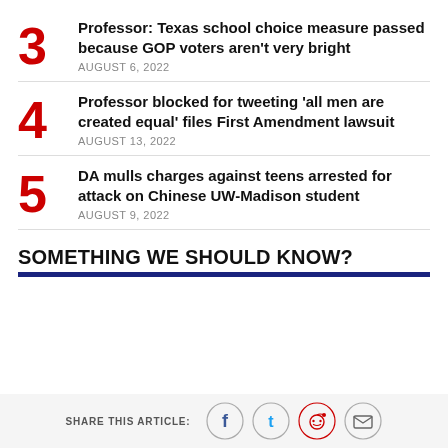3 Professor: Texas school choice measure passed because GOP voters aren't very bright AUGUST 6, 2022
4 Professor blocked for tweeting 'all men are created equal' files First Amendment lawsuit AUGUST 13, 2022
5 DA mulls charges against teens arrested for attack on Chinese UW-Madison student AUGUST 9, 2022
SOMETHING WE SHOULD KNOW?
SHARE THIS ARTICLE: